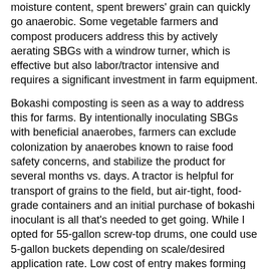moisture content, spent brewers' grain can quickly go anaerobic. Some vegetable farmers and compost producers address this by actively aerating SBGs with a windrow turner, which is effective but also labor/tractor intensive and requires a significant investment in farm equipment.
Bokashi composting is seen as a way to address this for farms. By intentionally inoculating SBGs with beneficial anaerobes, farmers can exclude colonization by anaerobes known to raise food safety concerns, and stabilize the product for several months vs. days. A tractor is helpful for transport of grains to the field, but air-tight, food-grade containers and an initial purchase of bokashi inoculant is all that's needed to get going. While I opted for 55-gallon screw-top drums, one could use 5-gallon buckets depending on scale/desired application rate. Low cost of entry makes forming collaborations with local breweries far more feasible for small-scale producers.